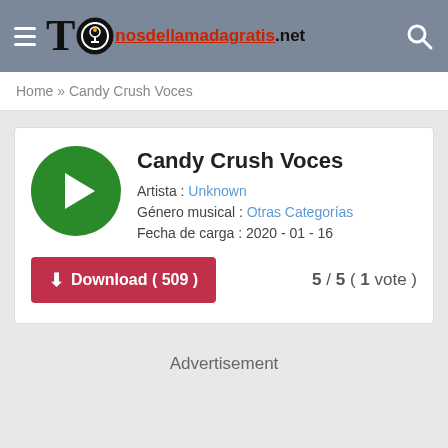Tonosdellamadagratis.net
Home » Candy Crush Voces
Candy Crush Voces
Artista : Unknown
Género musical : Otras Categorías
Fecha de carga : 2020 - 01 - 16
5 / 5 ( 1 vote )
Download ( 509 )
Advertisement